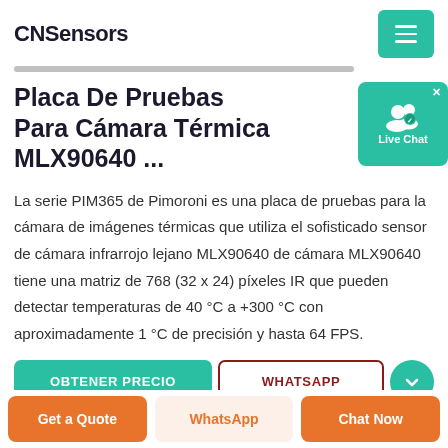CNSensors
Placa De Pruebas Para Cámara Térmica MLX90640 ...
La serie PIM365 de Pimoroni es una placa de pruebas para la cámara de imágenes térmicas que utiliza el sofisticado sensor de cámara infrarrojo lejano MLX90640 de cámara MLX90640 tiene una matriz de 768 (32 x 24) píxeles IR que pueden detectar temperaturas de 40 °C a +300 °C con aproximadamente 1 °C de precisión y hasta 64 FPS.
[Figure (screenshot): Live Chat widget button with user icon]
OBTENER PRECIO
WHATSAPP
Get a Quote
WhatsApp
Chat Now